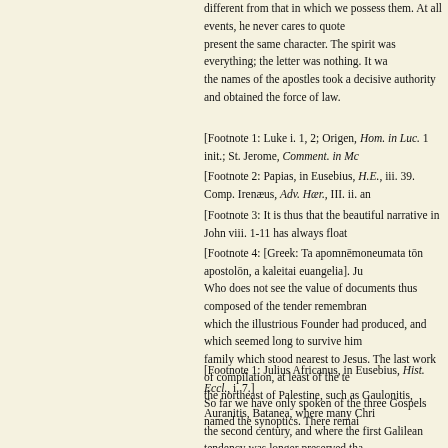different from that in which we possess them. At all events, he never cares to quote them present the same character. The spirit was everything; the letter was nothing. It was the names of the apostles took a decisive authority and obtained the force of law.
[Footnote 1: Luke i. 1, 2; Origen, Hom. in Luc. 1 init.; St. Jerome, Comment. in Mc
[Footnote 2: Papias, in Eusebius, H.E., iii. 39. Comp. Irenæus, Adv. Hær., III. ii. an
[Footnote 3: It is thus that the beautiful narrative in John viii. 1-11 has always float
[Footnote 4: [Greek: Ta apomnēmoneumata tōn apostolōn, a kaleitai euangelia]. Ju
Who does not see the value of documents thus composed of the tender remembrance which the illustrious Founder had produced, and which seemed long to survive him family which stood nearest to Jesus. The last work of compilation, at least of the te the northeast of Palestine, such as Gaulonitis, Auranitis, Batanea, where many Chri the second century, and where the first Galilean tendency was longer preserved tha
[Footnote 1: Julius Africanus, in Eusebius, Hist. Eccl., i. 7.]
So far we have only spoken of the three Gospels named the synoptics. There remai foundation, and the question is further from solution. Papias—who was connected immediate disciples, among others, Aristion, and the one called Presbyteros Joann oral narratives of both Aristion and Presbyteros Joannes. If any such mention had b literary history of the apostolic age, would doubtless have mentioned it.
The intrinsic difficulties drawn from the perusal of the fourth Gospel itself are not